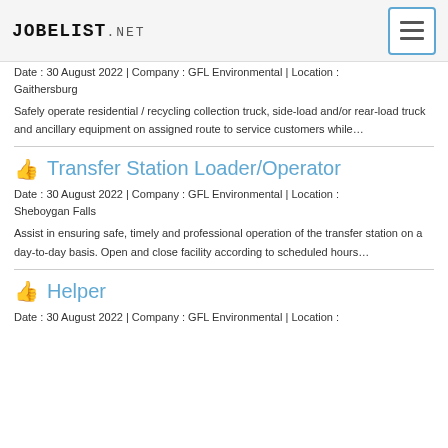JOBELIST.NET
Date : 30 August 2022 | Company : GFL Environmental | Location : Gaithersburg
Safely operate residential / recycling collection truck, side-load and/or rear-load truck and ancillary equipment on assigned route to service customers while…
Transfer Station Loader/Operator
Date : 30 August 2022 | Company : GFL Environmental | Location : Sheboygan Falls
Assist in ensuring safe, timely and professional operation of the transfer station on a day-to-day basis. Open and close facility according to scheduled hours…
Helper
Date : 30 August 2022 | Company : GFL Environmental | Location :